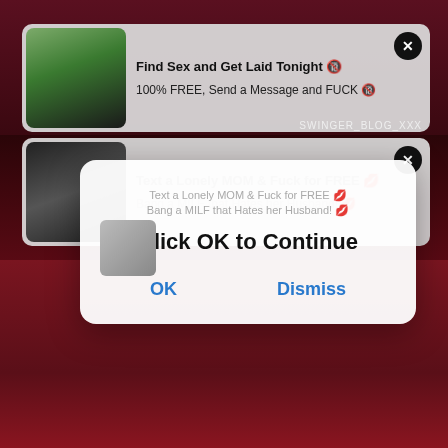[Figure (screenshot): Background of adult website with dark red/maroon tones showing blurred explicit imagery]
Find Sex and Get Laid Tonight 🔞
100% FREE, Send a Message and FUCK 🔞
Text a Lonely MOM & Fuck for FREE 💋
Bang a MILF that Hates her Husband! 💋
6115
SWINGER_BLOG_XXX
Click OK to Continue
OK
Dismiss